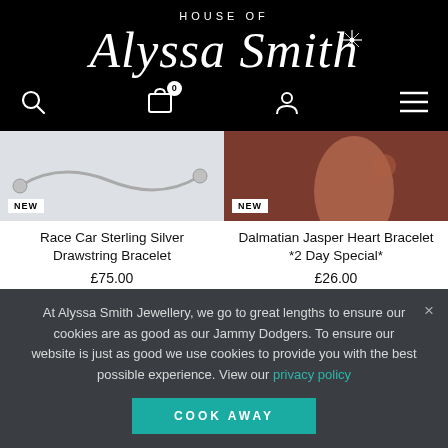HOUSE OF Alyssa Smith
[Figure (screenshot): Navigation bar with search icon, shopping bag with badge 0, user icon, and hamburger menu on black background]
[Figure (photo): Race Car Sterling Silver Drawstring Bracelet product photo showing silver bracelet with balls on light grey background, NEW badge]
[Figure (photo): Dalmatian Jasper Heart Bracelet product photo showing a person's neck/ear area with brown/terracotta background, NEW badge]
Race Car Sterling Silver Drawstring Bracelet
£75.00
Dalmatian Jasper Heart Bracelet *2 Day Special*
£26.00
At Alyssa Smith Jewellery, we go to great lengths to ensure our cookies are as good as our Jammy Dodgers. To ensure our website is just as good we use cookies to provide you with the best possible experience. View our privacy policy
COOK AWAY